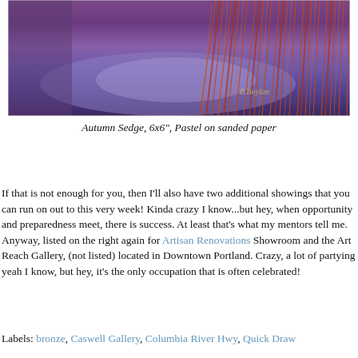[Figure (photo): A painting of autumn sedge grasses in purplish-blue tones with orange-red grasses on the right side, signed by the artist B. Boylan in gold lettering]
Autumn Sedge, 6x6", Pastel on sanded paper
If that is not enough for you, then I'll also have two additional showings that you can run on out to this very week! Kinda crazy I know...but hey, when opportunity and preparedness meet, there is success. At least that's what my mentors tell me. Anyway, listed on the right again for Artisan Renovations Showroom and the Art Reach Gallery, (not listed) located in Downtown Portland. Crazy, a lot of partying yeah I know, but hey, it's the only occupation that is often celebrated!
Labels: bronze, Caswell Gallery, Columbia River Hwy, Quick Draw